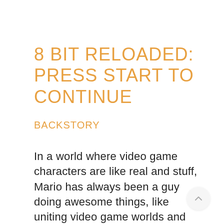8 BIT RELOADED: PRESS START TO CONTINUE
BACKSTORY
In a world where video game characters are like real and stuff, Mario has always been a guy doing awesome things, like uniting video game worlds and stuff. 1 year ago, he tried to activate a special